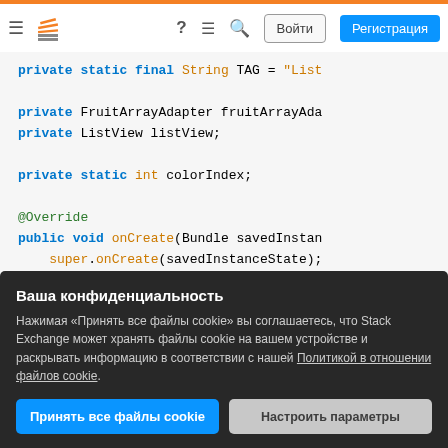Stack Overflow navigation bar with hamburger menu, logo, help icon, chat icon, search icon, login button, and registration button
[Figure (screenshot): Code editor showing Java code snippet with syntax highlighting: private static final String TAG, private FruitArrayAdapter fruitArrayAda, private ListView listView, private static int colorIndex, @Override, public void onCreate(Bundle savedInstan, super.onCreate(savedInstanceState), setContentView(R.layout.listview_la, colorIndex = 0, listView = (ListView).findViewByI d(]
Ваша конфиденциальность
Нажимая «Принять все файлы cookie» вы соглашаетесь, что Stack Exchange может хранить файлы cookie на вашем устройстве и раскрывать информацию в соответствии с нашей Политикой в отношении файлов cookie.
Принять все файлы cookie
Настроить параметры